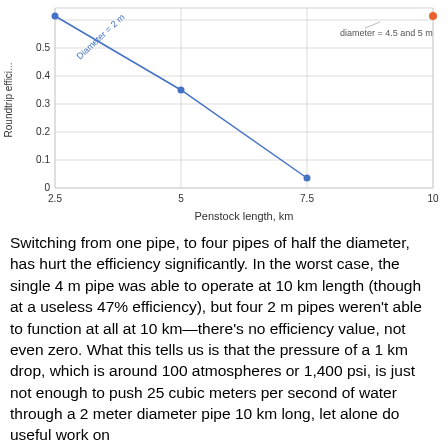[Figure (line-chart): ]
Switching from one pipe, to four pipes of half the diameter, has hurt the efficiency significantly. In the worst case, the single 4 m pipe was able to operate at 10 km length (though at a useless 47% efficiency), but four 2 m pipes weren't able to function at all at 10 km—there's no efficiency value, not even zero. What this tells us is that the pressure of a 1 km drop, which is around 100 atmospheres or 1,400 psi, is just not enough to push 25 cubic meters per second of water through a 2 meter diameter pipe 10 km long, let alone do useful work on